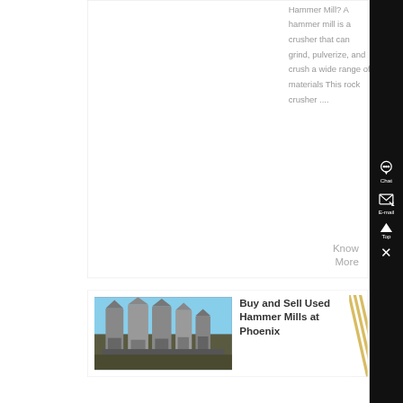Hammer Mill? A hammer mill is a crusher that can grind, pulverize, and crush a wide range of materials This rock crusher ....
Know More
[Figure (photo): Industrial hammer mills / silos at a facility, outdoor photo]
Buy and Sell Used Hammer Mills at Phoenix